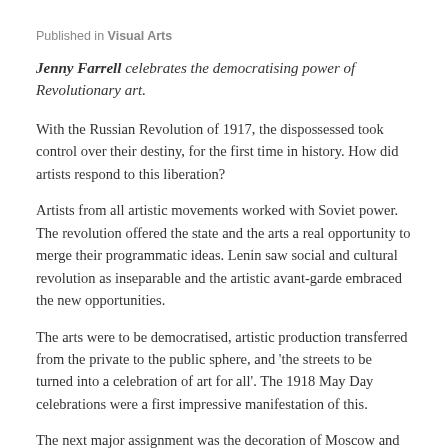Published in Visual Arts
Jenny Farrell celebrates the democratising power of Revolutionary art.
With the Russian Revolution of 1917, the dispossessed took control over their destiny, for the first time in history. How did artists respond to this liberation?
Artists from all artistic movements worked with Soviet power. The revolution offered the state and the arts a real opportunity to merge their programmatic ideas. Lenin saw social and cultural revolution as inseparable and the artistic avant-garde embraced the new opportunities.
The arts were to be democratised, artistic production transferred from the private to the public sphere, and 'the streets to be turned into a celebration of art for all'. The 1918 May Day celebrations were a first impressive manifestation of this.
The next major assignment was the decoration of Moscow and Petrograd for the 1918 October